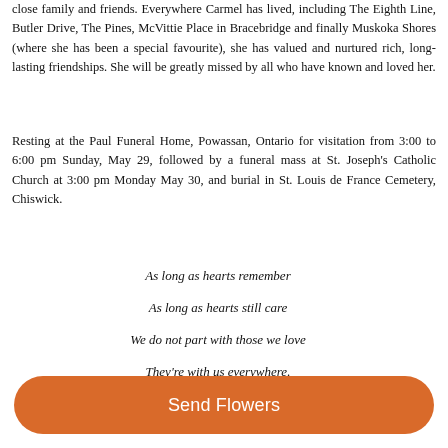close family and friends. Everywhere Carmel has lived, including The Eighth Line, Butler Drive, The Pines, McVittie Place in Bracebridge and finally Muskoka Shores (where she has been a special favourite), she has valued and nurtured rich, long-lasting friendships. She will be greatly missed by all who have known and loved her.
Resting at the Paul Funeral Home, Powassan, Ontario for visitation from 3:00 to 6:00 pm Sunday, May 29, followed by a funeral mass at St. Joseph's Catholic Church at 3:00 pm Monday May 30, and burial in St. Louis de France Cemetery, Chiswick.
As long as hearts remember
As long as hearts still care
We do not part with those we love
They're with us everywhere.
Send Flowers